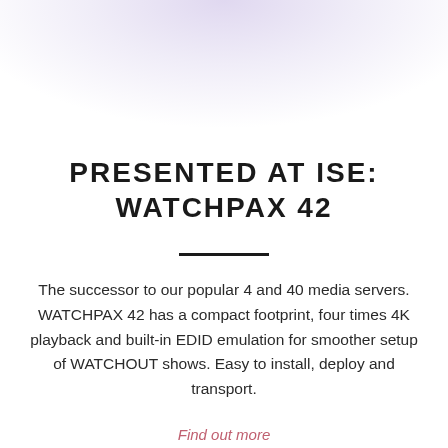[Figure (illustration): Soft lavender/purple radial gradient background at the top of the page, fading to white]
PRESENTED AT ISE: WATCHPAX 42
The successor to our popular 4 and 40 media servers. WATCHPAX 42 has a compact footprint, four times 4K playback and built-in EDID emulation for smoother setup of WATCHOUT shows. Easy to install, deploy and transport.
Find out more